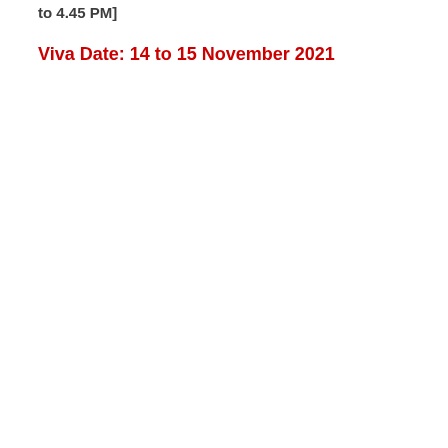to 4.45 PM]
Viva Date: 14 to 15 November 2021